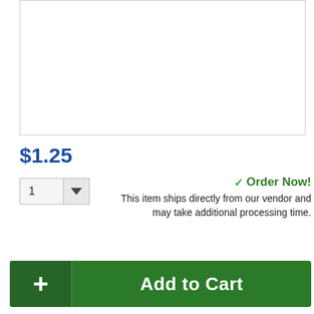[Figure (other): Product image placeholder area with border]
$1.25
1
✓ Order Now!
This item ships directly from our vendor and may take additional processing time.
+ Add to Cart